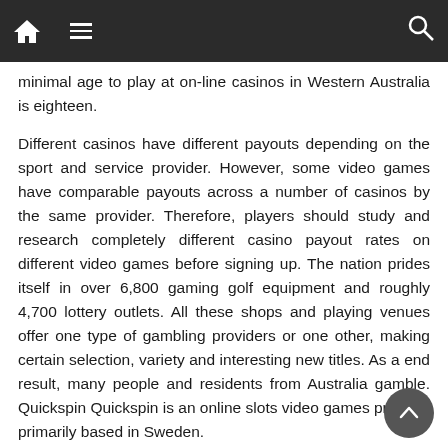Navigation bar with home, menu, and search icons
minimal age to play at on-line casinos in Western Australia is eighteen.
Different casinos have different payouts depending on the sport and service provider. However, some video games have comparable payouts across a number of casinos by the same provider. Therefore, players should study and research completely different casino payout rates on different video games before signing up. The nation prides itself in over 6,800 gaming golf equipment and roughly 4,700 lottery outlets. All these shops and playing venues offer one type of gambling providers or one other, making certain selection, variety and interesting new titles. As a end result, many people and residents from Australia gamble. Quickspin Quickspin is an online slots video games provider primarily based in Sweden.